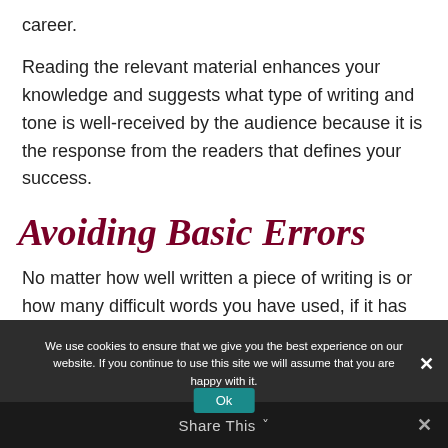career.
Reading the relevant material enhances your knowledge and suggests what type of writing and tone is well-received by the audience because it is the response from the readers that defines your success.
Avoiding Basic Errors
No matter how well written a piece of writing is or how many difficult words you have used, if it has basic grammatical errors, it will disappoint
We use cookies to ensure that we give you the best experience on our website. If you continue to use this site we will assume that you are happy with it.
Share This